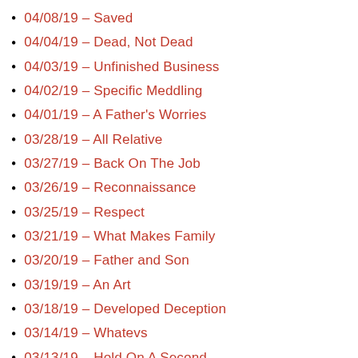04/08/19 – Saved
04/04/19 – Dead, Not Dead
04/03/19 – Unfinished Business
04/02/19 – Specific Meddling
04/01/19 – A Father's Worries
03/28/19 – All Relative
03/27/19 – Back On The Job
03/26/19 – Reconnaissance
03/25/19 – Respect
03/21/19 – What Makes Family
03/20/19 – Father and Son
03/19/19 – An Art
03/18/19 – Developed Deception
03/14/19 – Whatevs
03/13/19 – Hold On A Second
03/12/19 – Anesu's Big Plan
03/11/19 – Funny
03/07/19 – Tracked